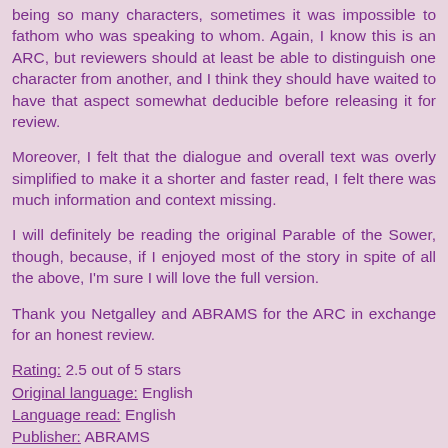being so many characters, sometimes it was impossible to fathom who was speaking to whom. Again, I know this is an ARC, but reviewers should at least be able to distinguish one character from another, and I think they should have waited to have that aspect somewhat deducible before releasing it for review.
Moreover, I felt that the dialogue and overall text was overly simplified to make it a shorter and faster read, I felt there was much information and context missing.
I will definitely be reading the original Parable of the Sower, though, because, if I enjoyed most of the story in spite of all the above, I'm sure I will love the full version.
Thank you Netgalley and ABRAMS for the ARC in exchange for an honest review.
Rating: 2.5 out of 5 stars
Original language: English
Language read: English
Publisher: ABRAMS